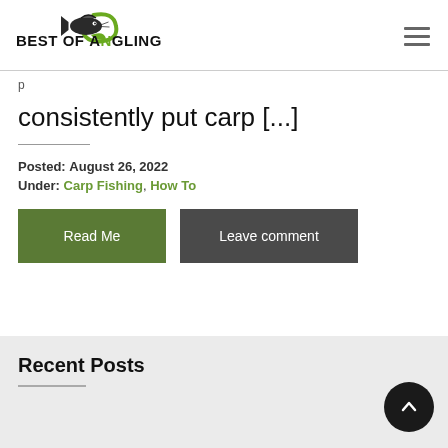[Figure (logo): Best of Angling logo with fish graphic and green hook design]
consistently put carp [...]
Posted: August 26, 2022
Under: Carp Fishing, How To
Read Me
Leave comment
Recent Posts